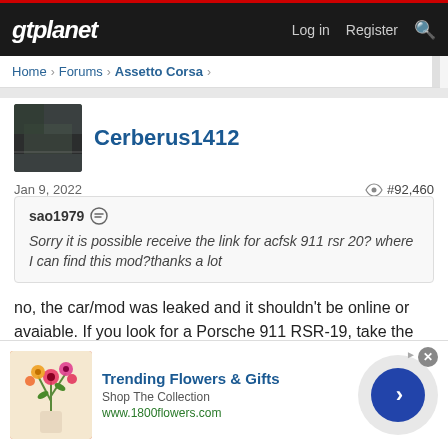gtplanet — Log in  Register
Home > Forums > Assetto Corsa >
Cerberus1412
Jan 9, 2022  #92,460
sao1979
Sorry it is possible receive the link for acfsk 911 rsr 20? where I can find this mod?thanks a lot
no, the car/mod was leaked and it shouldn't be online or avaiable. If you look for a Porsche 911 RSR-19, take the URD one. Only 3€ and you get the Porsche 911 RSR-19 and -20.
[Figure (infographic): Advertisement banner: Trending Flowers & Gifts, Shop The Collection, www.1800flowers.com, with flower image and blue circle arrow button]